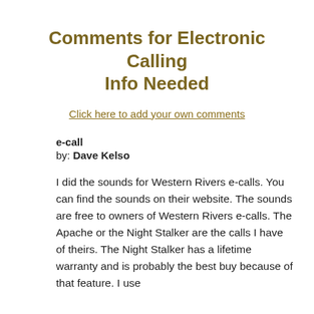Comments for Electronic Calling Info Needed
Click here to add your own comments
e-call
by: Dave Kelso
I did the sounds for Western Rivers e-calls. You can find the sounds on their website. The sounds are free to owners of Western Rivers e-calls. The Apache or the Night Stalker are the calls I have of theirs. The Night Stalker has a lifetime warranty and is probably the best buy because of that feature. I use